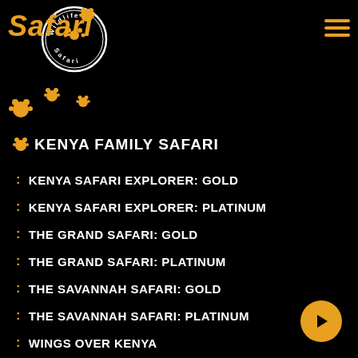[Figure (logo): Wildlife Safari circular logo with paw prints and 'Safari' text in orange italic, plus hamburger menu icon]
KENYA FAMILY SAFARI
KENYA SAFARI EXPLORER: GOLD
KENYA SAFARI EXPLORER: PLATINUM
THE GRAND SAFARI: GOLD
THE GRAND SAFARI: PLATINUM
THE SAVANNAH SAFARI: GOLD
THE SAVANNAH SAFARI: PLATINUM
WINGS OVER KENYA
WINGS OVER WILDLIFE
RWANDA GORILLA TREK